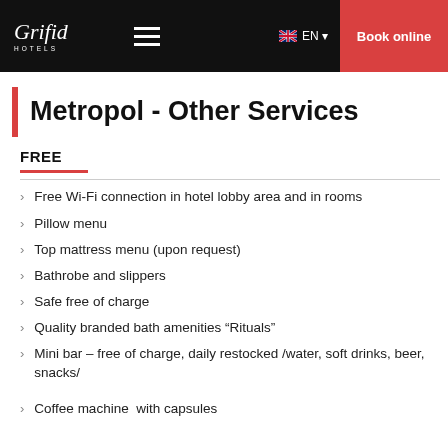Grifid Hotels — Book online (navigation bar)
Metropol - Other Services
FREE
Free Wi-Fi connection in hotel lobby area and in rooms
Pillow menu
Top mattress menu (upon request)
Bathrobe and slippers
Safe free of charge
Quality branded bath amenities “Rituals”
Mini bar – free of charge, daily restocked /water, soft drinks, beer, snacks/
Coffee machine  with capsules